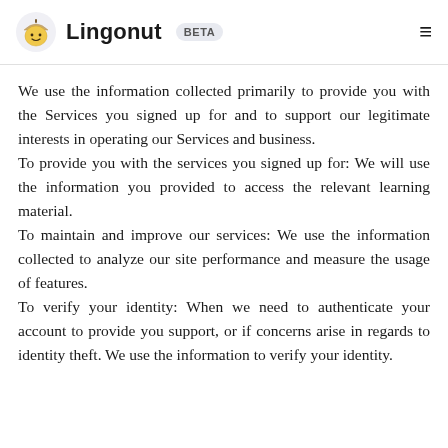Lingonut BETA
We use the information collected primarily to provide you with the Services you signed up for and to support our legitimate interests in operating our Services and business.
To provide you with the services you signed up for: We will use the information you provided to access the relevant learning material.
To maintain and improve our services: We use the information collected to analyze our site performance and measure the usage of features.
To verify your identity: When we need to authenticate your account to provide you support, or if concerns arise in regards to identity theft. We use the information to verify your identity.